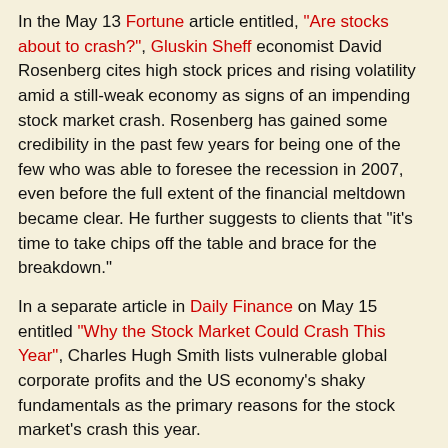In the May 13 Fortune article entitled, "Are stocks about to crash?", Gluskin Sheff economist David Rosenberg cites high stock prices and rising volatility amid a still-weak economy as signs of an impending stock market crash. Rosenberg has gained some credibility in the past few years for being one of the few who was able to foresee the recession in 2007, even before the full extent of the financial meltdown became clear. He further suggests to clients that "it's time to take chips off the table and brace for the breakdown."
In a separate article in Daily Finance on May 15 entitled "Why the Stock Market Could Crash This Year", Charles Hugh Smith lists vulnerable global corporate profits and the US economy's shaky fundamentals as the primary reasons for the stock market's crash this year.
The article points out that the weakening of major developing economies like China and the increasing strength of the US dollar against other currencies will continue to put pressure on the profitability of big US firms who are heavily reliant on overseas revenues.